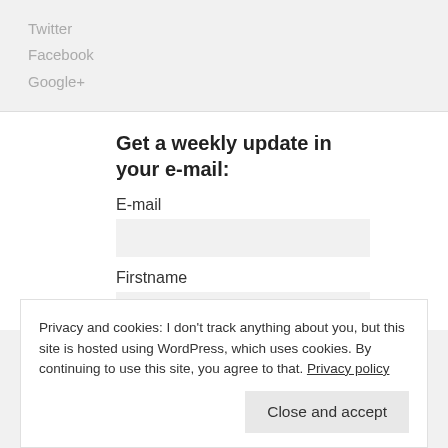Twitter
Facebook
Google+
Get a weekly update in your e-mail:
E-mail
Firstname
Subscribe
Privacy and cookies: I don't track anything about you, but this site is hosted using WordPress, which uses cookies. By continuing to use this site, you agree to that. Privacy policy
Close and accept